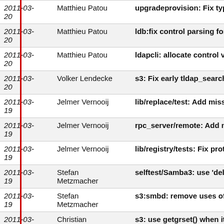| Date | Author | Message |
| --- | --- | --- |
| 2011-03-20 | Matthieu Patou | upgradeprovision: Fix typo |
| 2011-03-20 | Matthieu Patou | ldb:fix control parsing for d |
| 2011-03-20 | Matthieu Patou | ldapcli: allocate control valu |
| 2011-03-20 | Volker Lendecke | s3: Fix early tldap_search c |
| 2011-03-19 | Jelmer Vernooij | lib/replace/test: Add missin |
| 2011-03-19 | Jelmer Vernooij | rpc_server/remote: Add mis |
| 2011-03-19 | Jelmer Vernooij | lib/registry/tests: Fix prototy |
| 2011-03-19 | Stefan Metzmacher | selftest/Samba3: use 'debu |
| 2011-03-19 | Stefan Metzmacher | s3:smbd: remove uses of ". |
| 2011-03-19 | Christian Ambach | s3: use getgrset() when it is |
| 2011-03-19 | Jelmer Vernooij | pidl: Fix prototype for serve |